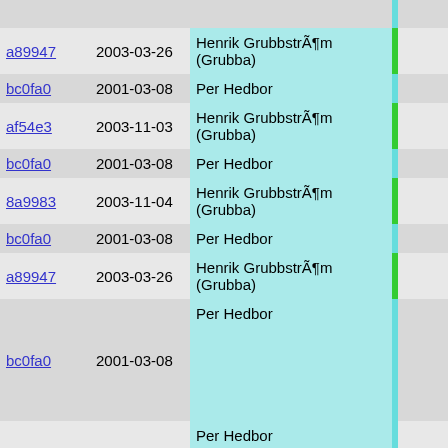| hash | date | author |  | code |
| --- | --- | --- | --- | --- |
| a89947 | 2003-03-26 | Henrik GrubbstrÃ¶m (Grubba) | green | if ( |
| bc0fa0 | 2001-03-08 | Per Hedbor | cyan | { |
| af54e3 | 2003-11-03 | Henrik GrubbstrÃ¶m (Grubba) | green | // |
| bc0fa0 | 2001-03-08 | Per Hedbor | cyan | pa |
| 8a9983 | 2003-11-04 | Henrik GrubbstrÃ¶m (Grubba) | green | in |
| bc0fa0 | 2001-03-08 | Per Hedbor | cyan | // |
| a89947 | 2003-03-26 | Henrik GrubbstrÃ¶m (Grubba) | green | fo |
| bc0fa0 | 2001-03-08 | Per Hedbor | cyan | { |
|  |  |  | cyan |  |
| f91a1a | 2001-03-08 | Per Hedbor | cyan |  |
|  |  |  | cyan |  |
| af54e3 | 2003-11-03 | Henrik GrubbstrÃ¶m (Grubba) | green |  |
| 8a9983 | 2003-11-04 | Henrik GrubbstrÃ¶m (Grubba) | green |  |
| af54e3 | 2003-11-03 | Henrik GrubbstrÃ¶m (Grubba) | green |  |
| bc0fa0 | 2001-03-08 | Per Hedbor | cyan |  |